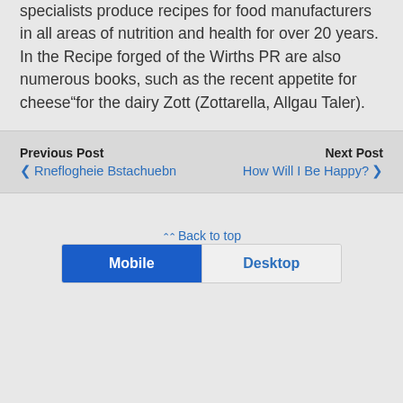specialists produce recipes for food manufacturers in all areas of nutrition and health for over 20 years. In the Recipe forged of the Wirths PR are also numerous books, such as the recent appetite for cheese“for the dairy Zott (Zottarella, Allgau Taler).
Previous Post
❮ Rneflogheie Bstachuebn
Next Post
How Will I Be Happy? ❯
⌃⌃ Back to top
Mobile
Desktop